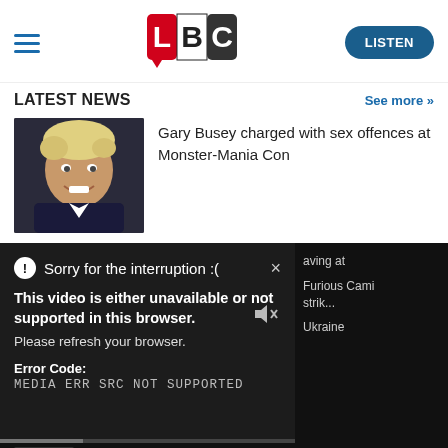[Figure (logo): LBC radio logo with L in red, B in white on black, C in black on white, with speech bubble shape]
LISTEN
LATEST NEWS
See more >>
[Figure (photo): Photo of Gary Busey, a man with blonde/white hair, smiling, wearing dark jacket]
Gary Busey charged with sex offences at Monster-Mania Con
⓵ Sorry for the interruption :(
This video is either unavailable or not supported in this browser. Please refresh your browser.
Error Code: MEDIA ERR SRC NOT SUPPORTED
saving at
Furious Cami strik...
Ukraine